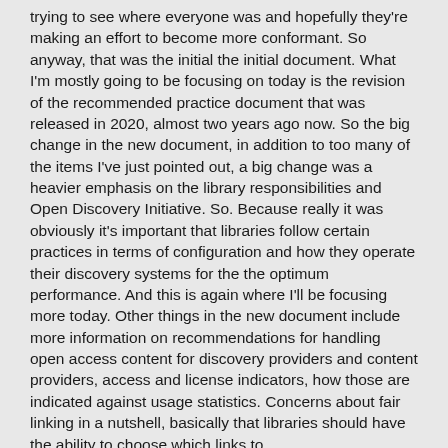trying to see where everyone was and hopefully they're making an effort to become more conformant. So anyway, that was the initial the initial document. What I'm mostly going to be focusing on today is the revision of the recommended practice document that was released in 2020, almost two years ago now. So the big change in the new document, in addition to too many of the items I've just pointed out, a big change was a heavier emphasis on the library responsibilities and Open Discovery Initiative. So. Because really it was obviously it's important that libraries follow certain practices in terms of configuration and how they operate their discovery systems for the the optimum performance. And this is again where I'll be focusing more today. Other things in the new document include more information on recommendations for handling open access content for discovery providers and content providers, access and license indicators, how those are indicated against usage statistics. Concerns about fair linking in a nutshell, basically that libraries should have the ability to choose which links to